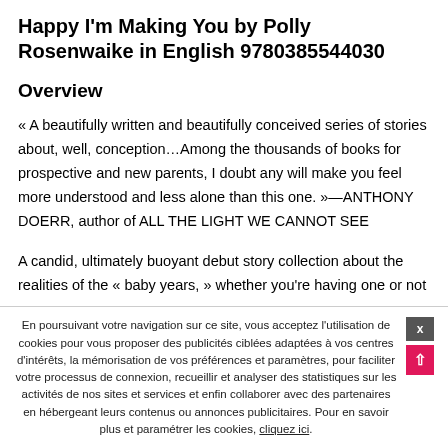Happy I'm Making You by Polly Rosenwaike in English 9780385544030
Overview
« A beautifully written and beautifully conceived series of stories about, well, conception…Among the thousands of books for prospective and new parents, I doubt any will make you feel more understood and less alone than this one. »—ANTHONY DOERR, author of ALL THE LIGHT WE CANNOT SEE
A candid, ultimately buoyant debut story collection about the realities of the « baby years, » whether you're having one or not
En poursuivant votre navigation sur ce site, vous acceptez l'utilisation de cookies pour vous proposer des publicités ciblées adaptées à vos centres d'intérêts, la mémorisation de vos préférences et paramètres, pour faciliter votre processus de connexion, recueillir et analyser des statistiques sur les activités de nos sites et services et enfin collaborer avec des partenaires en hébergeant leurs contenus ou annonces publicitaires. Pour en savoir plus et paramétrer les cookies, cliquez ici.